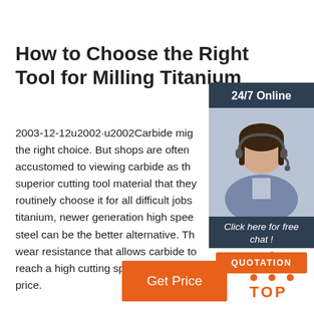How to Choose the Right Tool for Milling Titanium
2003-12-12u2002·u2002Carbide mig the right choice. But shops are often accustomed to viewing carbide as the superior cutting tool material that they routinely choose it for all difficult jobs titanium, newer generation high spee steel can be the better alternative. Th wear resistance that allows carbide t reach a high cutting speed comes at a price.
[Figure (other): Get Price orange button]
[Figure (other): 24/7 Online chat widget with agent photo, Click here for free chat, QUOTATION button]
[Figure (logo): TOP logo with orange dots triangle above orange text TOP]